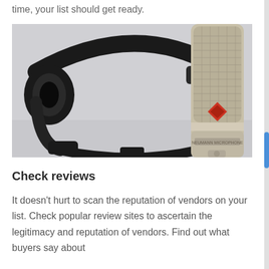time, your list should get ready.
[Figure (photo): Close-up photo of black over-ear headphones and a silver Neumann condenser microphone against a light grey background.]
Check reviews
It doesn't hurt to scan the reputation of vendors on your list. Check popular review sites to ascertain the legitimacy and reputation of vendors. Find out what buyers say about